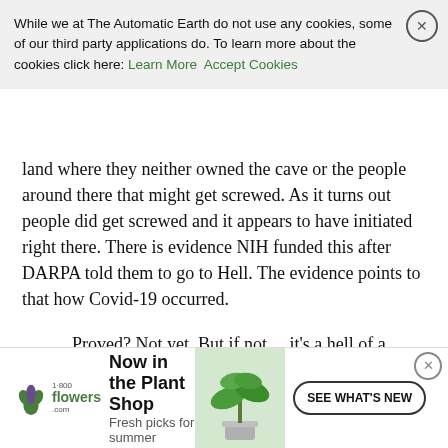While we at The Automatic Earth do not use any cookies, some of our third party applications do. To learn more about the cookies click here: Learn More  Accept Cookies
land where they neither owned the cave or the people around there that might get screwed. As it turns out people did get screwed and it appears to have initiated right there. There is evidence NIH funded this after DARPA told them to go to Hell. The evidence points to that how Covid-19 occurred.
Proved? Not yet. But if not… it's a hell of a coincidence, isn't it — both on what was being done and the timing. But note well that Trump, and Fox, are all over the Wuhan Institute only. Oddly silent is that institutions right here in the United States appear to have been part of it. They most-certainly were in the original proposal which has surfaced, I remind you. Exactly nobody has called for a full and open investigation into that, and there is evidence that they were involved after DARPA rejected the work too in the form of transfer agreements in late 2019, just before everything went to Hell. Where be the
[Figure (infographic): 1-800-flowers.com advertisement banner: 'Now in the Plant Shop / Fresh picks for summer' with SEE WHAT'S NEW button and plant image]